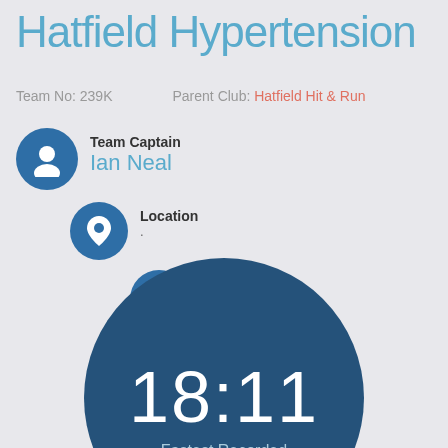Hatfield Hypertension
Team No: 239K    Parent Club: Hatfield Hit & Run
Team Captain
Ian Neal
Location
.
Established
04.05.2015
[Figure (infographic): Large dark blue circle showing the time 18:11 in large white numerals, with 'Fastest Recorded' text below partially visible]